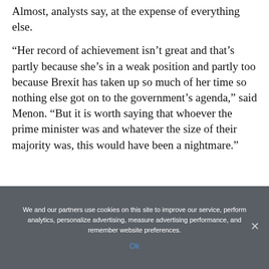Almost, analysts say, at the expense of everything else.
“Her record of achievement isn’t great and that’s partly because she’s in a weak position and partly too because Brexit has taken up so much of her time so nothing else got on to the government’s agenda,” said Menon. “But it is worth saying that whoever the prime minister was and whatever the size of their majority was, this would have been a nightmare.”
We and our partners use cookies on this site to improve our service, perform analytics, personalize advertising, measure advertising performance, and remember website preferences.
Ok